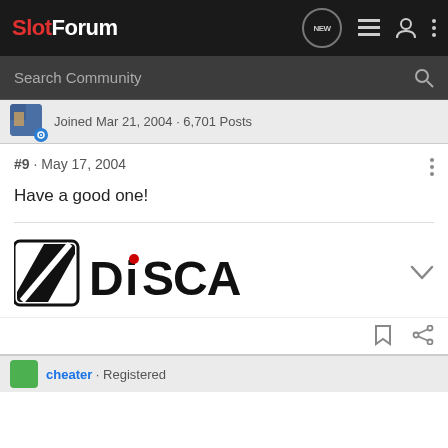SlotForum
Search Community
Joined Mar 21, 2004 · 6,701 Posts
#9 · May 17, 2004
Have a good one!
[Figure (logo): DiSCA logo — square icon with diagonal slash and DiSCA wordmark in black bold text with red accent dot over the i]
cheater · Registered